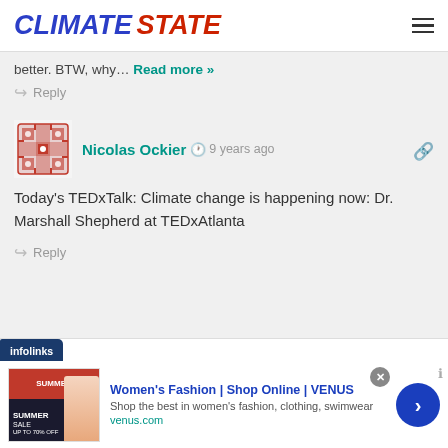CLIMATE STATE
better. BTW, why... Read more »
↪ Reply
[Figure (illustration): User avatar icon — decorative red/pink geometric pattern square]
Nicolas Ockier  🕐 9 years ago
Today's TEDxTalk: Climate change is happening now: Dr. Marshall Shepherd at TEDxAtlanta
↪ Reply
[Figure (screenshot): Advertisement banner: Women's Fashion | Shop Online | VENUS — Shop the best in women's fashion, clothing, swimwear — venus.com]